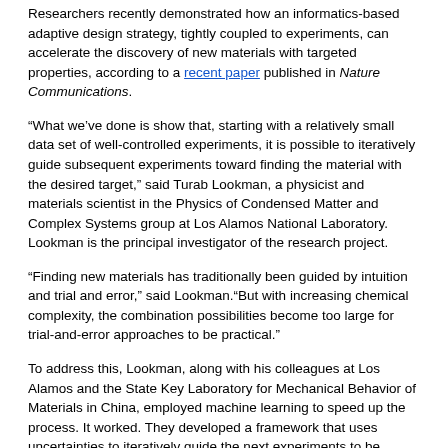Researchers recently demonstrated how an informatics-based adaptive design strategy, tightly coupled to experiments, can accelerate the discovery of new materials with targeted properties, according to a recent paper published in Nature Communications.
“What we’ve done is show that, starting with a relatively small data set of well-controlled experiments, it is possible to iteratively guide subsequent experiments toward finding the material with the desired target,” said Turab Lookman, a physicist and materials scientist in the Physics of Condensed Matter and Complex Systems group at Los Alamos National Laboratory. Lookman is the principal investigator of the research project.
“Finding new materials has traditionally been guided by intuition and trial and error,” said Lookman.“But with increasing chemical complexity, the combination possibilities become too large for trial-and-error approaches to be practical.”
To address this, Lookman, along with his colleagues at Los Alamos and the State Key Laboratory for Mechanical Behavior of Materials in China, employed machine learning to speed up the process. It worked. They developed a framework that uses uncertainties to iteratively guide the next experiments to be performed in search of a shape-memory alloy with very low thermal hysteresis (or dissipation). Such alloys are critical for improving fatigue life in engineering applications.